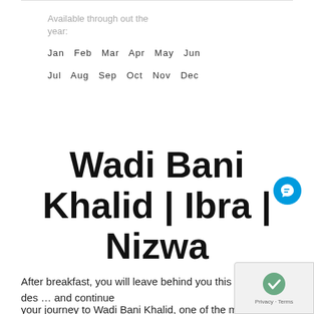Available through out the year:
Jan  Feb  Mar  Apr  May  Jun
Jul  Aug  Sep  Oct  Nov  Dec
Wadi Bani Khalid | Ibra | Nizwa
After breakfast, you will leave behind you this beautiful des... and continue
your journey to Wadi Bani Khalid, one of the most picturesque